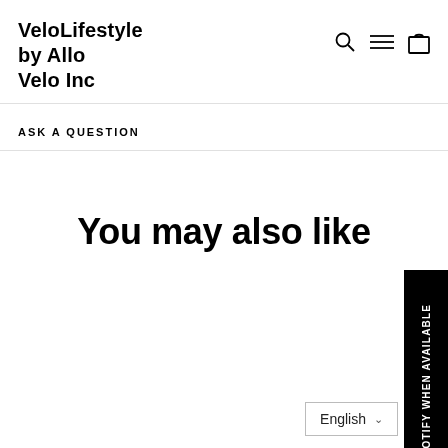VeloLifestyle by Allo Velo Inc
ASK A QUESTION
You may also like
NOTIFY WHEN AVAILABLE
English